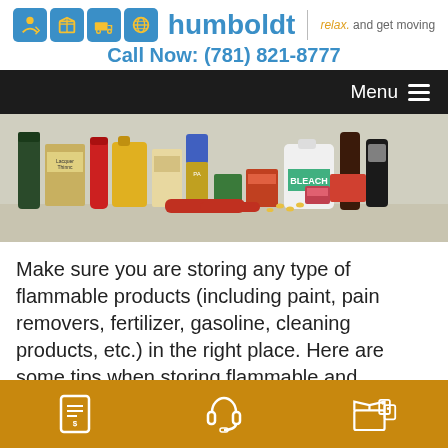humboldt | relax. and get moving
Call Now: (781) 821-8777
[Figure (screenshot): Navigation menu bar with black background and Menu label with hamburger icon on the right]
[Figure (photo): Photo of various flammable household products including spray cans, paint thinner, lacquer thinner, bleach, paint, fertilizer, matches, and other chemicals arranged together]
Make sure you are storing any type of flammable products (including paint, pain removers, fertilizer, gasoline, cleaning products, etc.) in the right place. Here are some tips when storing flammable and
Footer bar with icons for quote/pricing, customer support headset, and moving boxes